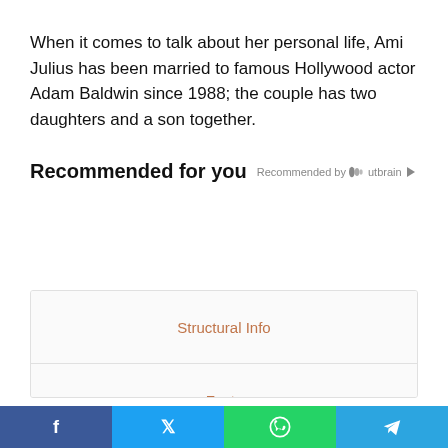When it comes to talk about her personal life, Ami Julius has been married to famous Hollywood actor Adam Baldwin since 1988; the couple has two daughters and a son together.
Recommended for you
Recommended by Outbrain
| Structural Info |
| Facts |
|  |
Share bar: Facebook, Twitter, WhatsApp, Telegram